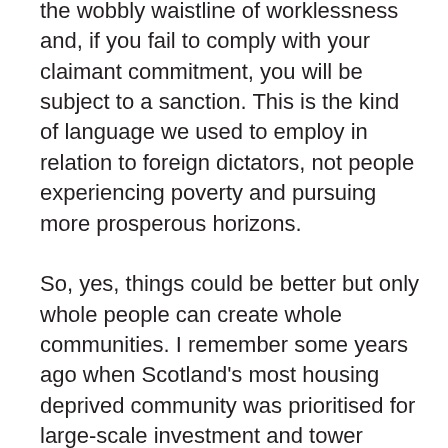the wobbly waistline of worklessness and, if you fail to comply with your claimant commitment, you will be subject to a sanction. This is the kind of language we used to employ in relation to foreign dictators, not people experiencing poverty and pursuing more prosperous horizons.

So, yes, things could be better but only whole people can create whole communities. I remember some years ago when Scotland's most housing deprived community was prioritised for large-scale investment and tower blocks were torn down and residents were rehoused in new homes. However, no sooner than residents were resettled did a small number prone to alcohol and substance misuse start selling parts of their new kitchens and bathrooms to sustain addictions. External